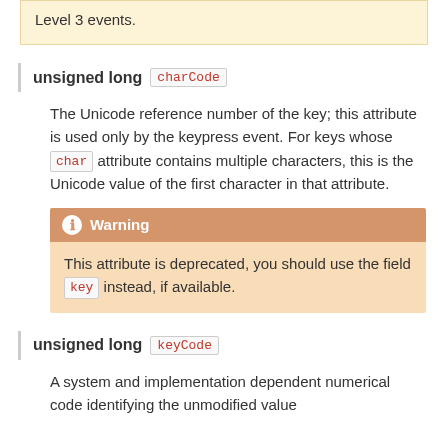Level 3 events.
unsigned long charCode
The Unicode reference number of the key; this attribute is used only by the keypress event. For keys whose char attribute contains multiple characters, this is the Unicode value of the first character in that attribute.
Warning: This attribute is deprecated, you should use the field key instead, if available.
unsigned long keyCode
A system and implementation dependent numerical code identifying the unmodified value